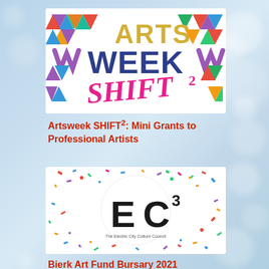[Figure (logo): Arts Week SHIFT squared logo with colorful geometric triangles and pink SHIFT text]
Artsweek SHIFT²: Mini Grants to Professional Artists
[Figure (logo): EC3 The Electric City Culture Council logo with colorful confetti on white circular background]
Bierk Art Fund Bursary 2021